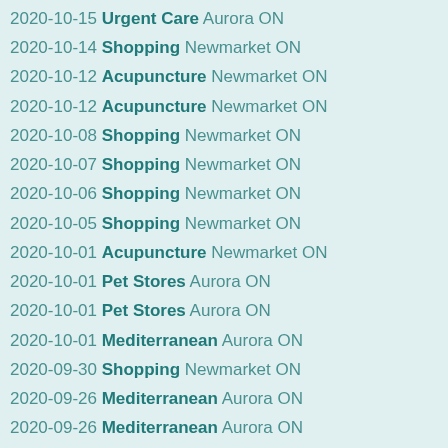2020-10-15 Urgent Care Aurora ON
2020-10-14 Shopping Newmarket ON
2020-10-12 Acupuncture Newmarket ON
2020-10-12 Acupuncture Newmarket ON
2020-10-08 Shopping Newmarket ON
2020-10-07 Shopping Newmarket ON
2020-10-06 Shopping Newmarket ON
2020-10-05 Shopping Newmarket ON
2020-10-01 Acupuncture Newmarket ON
2020-10-01 Pet Stores Aurora ON
2020-10-01 Pet Stores Aurora ON
2020-10-01 Mediterranean Aurora ON
2020-09-30 Shopping Newmarket ON
2020-09-26 Mediterranean Aurora ON
2020-09-26 Mediterranean Aurora ON
2020-09-26 Pet Stores Aurora ON
2020-09-26 Pet Stores Aurora ON
2020-09-23 Halal Aurora ON
2020-09-09 Sushi Bars Aurora ON
2020-09-08 Printing Services Newmarket ON
2020-09-08 Arts Aurora ON
2020-09-07 Mediterranean Aurora ON